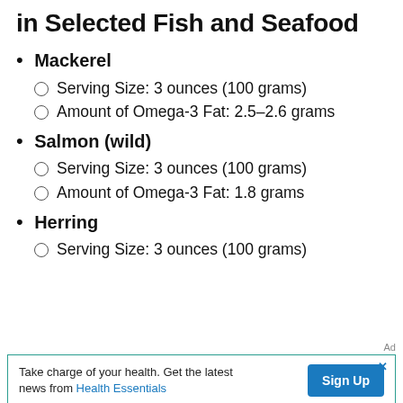in Selected Fish and Seafood
Mackerel
Serving Size: 3 ounces (100 grams)
Amount of Omega-3 Fat: 2.5–2.6 grams
Salmon (wild)
Serving Size: 3 ounces (100 grams)
Amount of Omega-3 Fat: 1.8 grams
Herring
Serving Size: 3 ounces (100 grams)
Ad
Take charge of your health. Get the latest news from Health Essentials  Sign Up